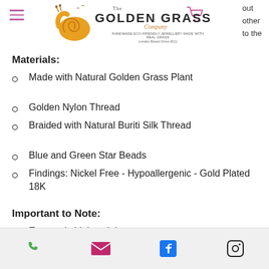The Golden Grass Company — Handmade Eco-Friendly Jewellery Made with Real Grass, London Based Since 2011
Materials:
Made with Natural Golden Grass Plant
Golden Nylon Thread
Braided with Natural Buriti Silk Thread
Blue and Green Star Beads
Findings: Nickel Free - Hypoallergenic - Gold Plated 18K
Important to Note:
Extremely Lightweight
Adjustable
Please be aware that depending on the harvesting and unique handicrafting, some